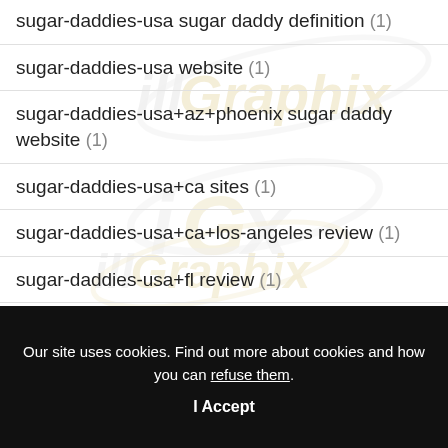sugar-daddies-usa sugar daddy definition (1)
sugar-daddies-usa website (1)
sugar-daddies-usa+az+phoenix sugar daddy website (1)
sugar-daddies-usa+ca sites (1)
sugar-daddies-usa+ca+los-angeles review (1)
sugar-daddies-usa+fl review (1)
Our site uses cookies. Find out more about cookies and how you can refuse them.
I Accept